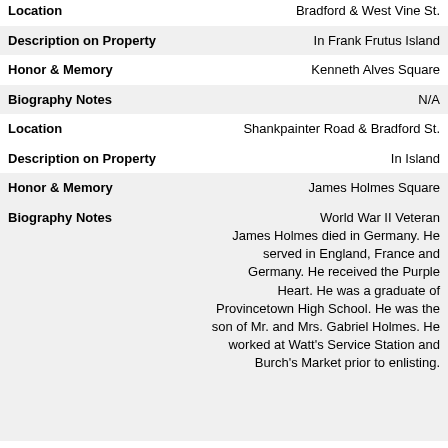| Field | Value |
| --- | --- |
| Location | Bradford & West Vine St. |
| Description on Property | In Frank Frutus Island |
| Honor & Memory | Kenneth Alves Square |
| Biography Notes | N/A |
| Location | Shankpainter Road & Bradford St. |
| Description on Property | In Island |
| Honor & Memory | James Holmes Square |
| Biography Notes | World War II Veteran
James Holmes died in Germany. He served in England, France and Germany. He received the Purple Heart. He was a graduate of Provincetown High School. He was the son of Mr. and Mrs. Gabriel Holmes. He worked at Watt's Service Station and Burch's Market prior to enlisting. |
| Location | Braford St. & Prince Streets |